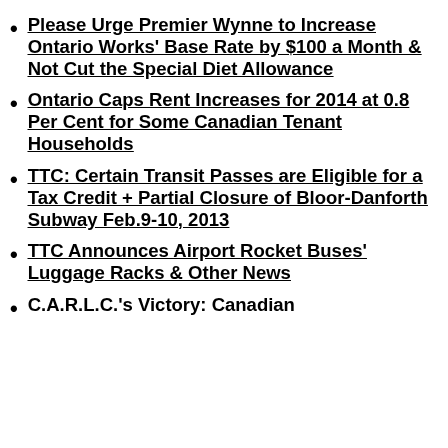Please Urge Premier Wynne to Increase Ontario Works' Base Rate by $100 a Month & Not Cut the Special Diet Allowance
Ontario Caps Rent Increases for 2014 at 0.8 Per Cent for Some Canadian Tenant Households
TTC: Certain Transit Passes are Eligible for a Tax Credit + Partial Closure of Bloor-Danforth Subway Feb.9-10, 2013
TTC Announces Airport Rocket Buses' Luggage Racks & Other News
C.A.R.L.C.'s Victory: Canadian